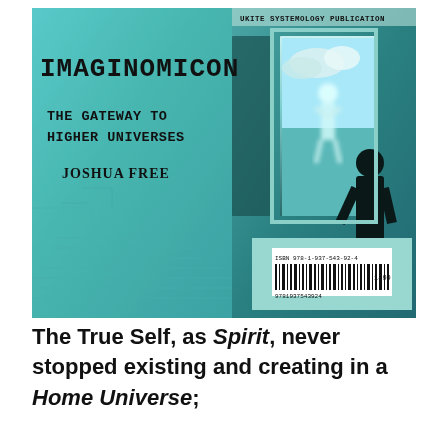[Figure (illustration): Book cover of 'Imaginomicon: The Gateway to Higher Universes' by Joshua Free. Left half shows teal/blue circuit-board texture background with bold black title text 'IMAGINOMICON', subtitle 'THE GATEWAY TO HIGHER UNIVERSES', and author name 'JOSHUA FREE'. Right half shows a dark silhouette of a person standing before an open door/portal revealing a bright glowing humanoid figure against a sky with clouds. Top right has text 'UKITE SYSTEMOLOGY PUBLICATION'. Bottom right shows a barcode on teal background.]
The True Self, as Spirit, never stopped existing and creating in a Home Universe;